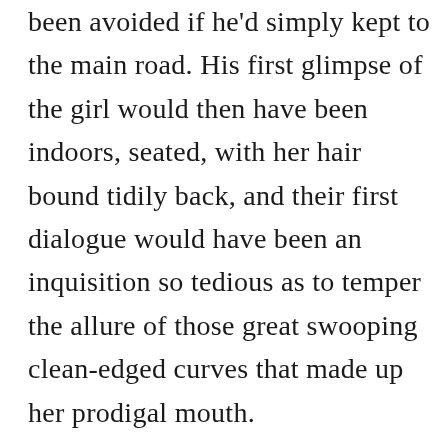been avoided if he'd simply kept to the main road. His first glimpse of the girl would then have been indoors, seated, with her hair bound tidily back, and their first dialogue would have been an inquisition so tedious as to temper the allure of those great swooping clean-edged curves that made up her prodigal mouth.

But with no way of knowing what lay in store, he hadn't any reason to avoid the detour. The girl had only been